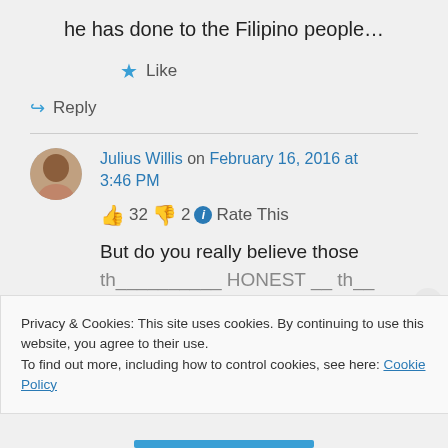he has done to the Filipino people…
★ Like
↪ Reply
Julius Willis on February 16, 2016 at 3:46 PM
👍 32 👎 2 ℹ Rate This
But do you really believe those
Privacy & Cookies: This site uses cookies. By continuing to use this website, you agree to their use.
To find out more, including how to control cookies, see here: Cookie Policy
Close and accept